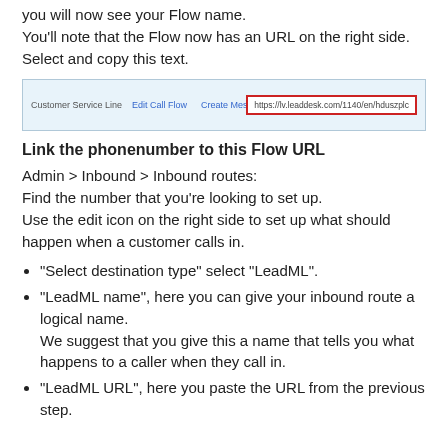you will now see your Flow name.
You'll note that the Flow now has an URL on the right side. Select and copy this text.
[Figure (screenshot): A screenshot of a UI row showing 'Customer Service Line', 'Edit Call Flow', 'Create Message Flow', a calendar icon, and a URL box on the right side highlighted with a red border containing 'https://lv.leaddesk.com/1140/en/hduszplc']
Link the phonenumber to this Flow URL
Admin > Inbound > Inbound routes:
Find the number that you're looking to set up.
Use the edit icon on the right side to set up what should happen when a customer calls in.
"Select destination type" select "LeadML".
"LeadML name", here you can give your inbound route a logical name.
We suggest that you give this a name that tells you what happens to a caller when they call in.
"LeadML URL", here you paste the URL from the previous step.